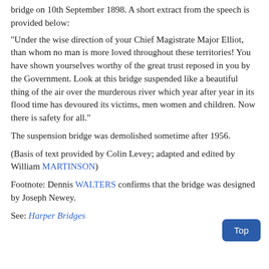bridge on 10th September 1898. A short extract from the speech is provided below:
"Under the wise direction of your Chief Magistrate Major Elliot, than whom no man is more loved throughout these territories! You have shown yourselves worthy of the great trust reposed in you by the Government. Look at this bridge suspended like a beautiful thing of the air over the murderous river which year after year in its flood time has devoured its victims, men women and children. Now there is safety for all."
The suspension bridge was demolished sometime after 1956.
(Basis of text provided by Colin Levey; adapted and edited by William MARTINSON)
Footnote: Dennis WALTERS confirms that the bridge was designed by Joseph Newey.
See: Harper Bridges